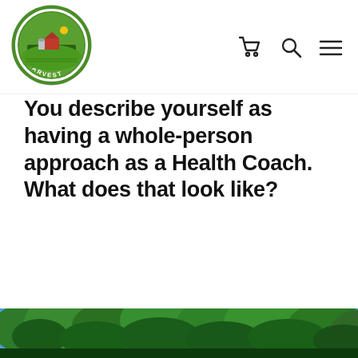[Figure (logo): Manitoba Harvest Hemp Foods circular green logo with farm scene]
You describe yourself as having a whole-person approach as a Health Coach. What does that look like?
[Figure (photo): Bottom strip of a photo showing tree canopy with blue sky, green foliage visible at the very bottom of the page]